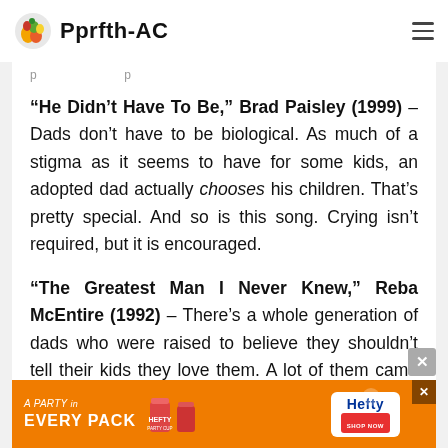Pprfth-AC
… p … p …
“He Didn’t Have To Be,” Brad Paisley (1999) – Dads don’t have to be biological. As much of a stigma as it seems to have for some kids, an adopted dad actually chooses his children. That’s pretty special. And so is this song. Crying isn’t required, but it is encouraged.
“The Greatest Man I Never Knew,” Reba McEntire (1992) – There’s a whole generation of dads who were raised to believe they shouldn’t tell their kids they love them. A lot of them came to realize
[Figure (other): Hefty cups advertisement banner at bottom of page]